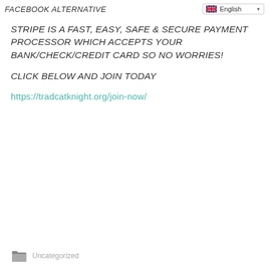FACEBOOK ALTERNATIVE
STRIPE IS A FAST, EASY, SAFE & SECURE PAYMENT PROCESSOR WHICH ACCEPTS YOUR BANK/CHECK/CREDIT CARD SO NO WORRIES!
CLICK BELOW AND JOIN TODAY
https://tradcatknight.org/join-now/
Uncategorized